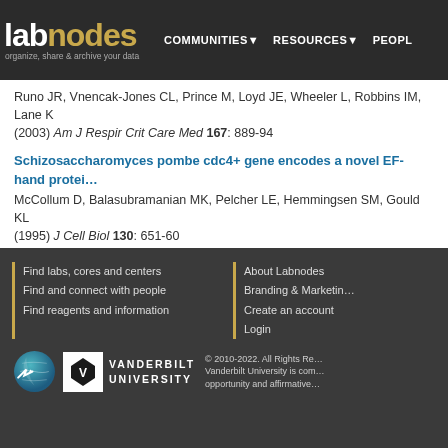labnodes — organize, share & archive your data | COMMUNITIES | RESOURCES | PEOPLE
Runo JR, Vnencak-Jones CL, Prince M, Loyd JE, Wheeler L, Robbins IM, Lane K (2003) Am J Respir Crit Care Med 167: 889-94
Schizosaccharomyces pombe cdc4+ gene encodes a novel EF-hand protein essential for cytokinesis
McCollum D, Balasubramanian MK, Pelcher LE, Hemmingsen SM, Gould KL (1995) J Cell Biol 130: 651-60
The Schizosaccharomyces pombe cdc3+ gene encodes a profilin essential for cytokinesis
Balasubramanian MK, Hirani BR, Burke JD, Gould KL (1994) J Cell Biol 125: 1289-301
Find labs, cores and centers | Find and connect with people | Find reagents and information | About Labnodes | Branding & Marketing | Create an account | Login | © 2010-2022. All Rights Reserved. Vanderbilt University is committed to equal opportunity and affirmative